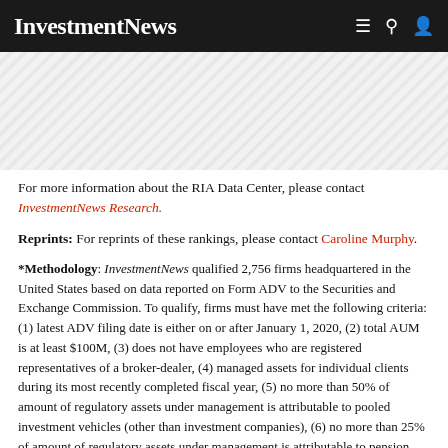InvestmentNews
[Figure (other): Advertisement banner with diagonal stripe pattern]
For more information about the RIA Data Center, please contact InvestmentNews Research.
Reprints: For reprints of these rankings, please contact Caroline Murphy.
*Methodology: InvestmentNews qualified 2,756 firms headquartered in the United States based on data reported on Form ADV to the Securities and Exchange Commission. To qualify, firms must have met the following criteria: (1) latest ADV filing date is either on or after January 1, 2020, (2) total AUM is at least $100M, (3) does not have employees who are registered representatives of a broker-dealer, (4) managed assets for individual clients during its most recently completed fiscal year, (5) no more than 50% of amount of regulatory assets under management is attributable to pooled investment vehicles (other than investment companies), (6) no more than 25% of amount of regulatory assets under management is attributable to pension and profit-sharing plans (but not the plan participants), (7) no more than 25% of amount of regulatory assets under management is attributable to corporations or other businesses, (8) does not receive commissions, (9) provides financial planning services, (10) is not actively engaged in business as a broker-dealer (registered or unregistered), (11) is not actively engaged in business as a registered